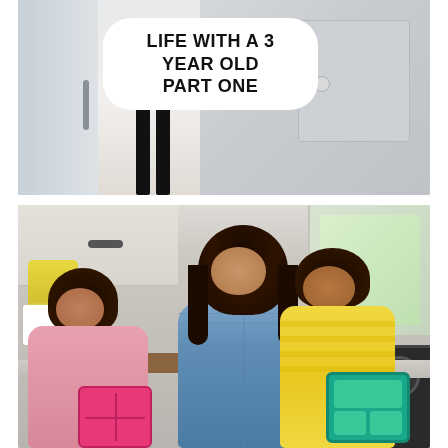[Figure (photo): Top portion of image showing a kitchen or home entryway scene with a person's legs visible, gray cabinets, and a door. A white rounded-rectangle text bubble overlays the image.]
LIFE WITH A 3 YEAR OLD PART ONE
[Figure (photo): A smiling Black mother with long dark hair wearing a denim shirt stands in a bright kitchen, looking down at two young children who are opening colorful bento-style lunchboxes — a pink one on the left and a teal one on the right. Yellow flowers and bright windows visible in the background.]